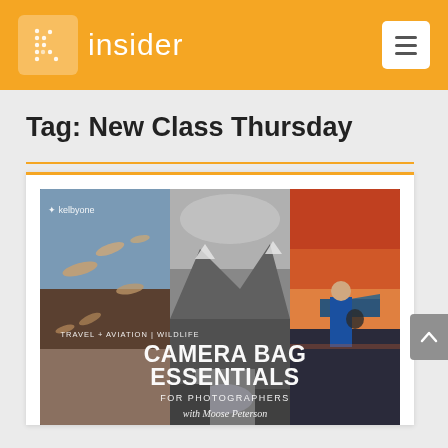insider
Tag: New Class Thursday
[Figure (photo): KelbyOne course promotional image for 'Camera Bag Essentials for Photographers with Moose Peterson' featuring travel, aviation, and wildlife photography composite with three panels: birds in flight, mountain landscape in black and white, and a pilot standing beside an aircraft at sunset.]